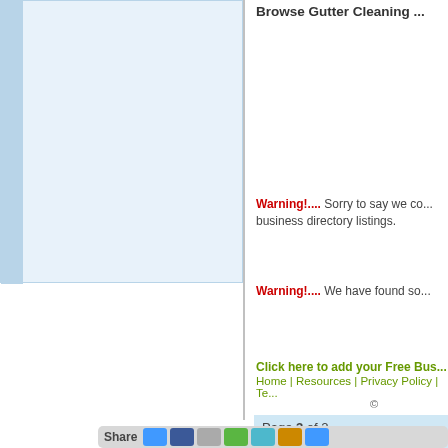[Figure (screenshot): Left panel with light blue background and left blue border, showing a content/listing area]
Browse Gutter Cleaning ...
Warning!.... Sorry to say we co... business directory listings.
Warning!.... We have found so...
Click here to add your Free Bus...
Page 3 of 2
Previous  1  2  Next
Home | Resources | Privacy Policy | Te...
©
Share